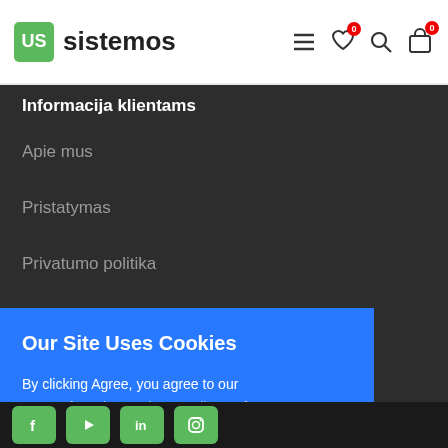[Figure (logo): US Sistemos logo with green box and brand name, navigation icons on right]
Informacija klientams
Apie mus
Pristatymas
Privatumo politika
Our Site Uses Cookies
By clicking Agree, you agree to our terms of service , privacy policy and cookies policy .
Opt Out
Allow cookies